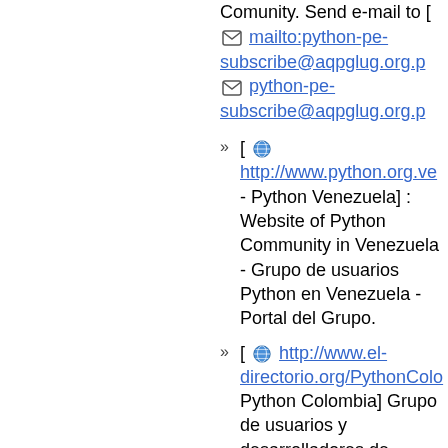Comunity. Send e-mail to [ mailto:python-pe-subscribe@aqpglug.org.p  python-pe-subscribe@aqpglug.org.p
[ http://www.python.org.ve - Python Venezuela] : Website of Python Community in Venezuela - Grupo de usuarios Python en Venezuela - Portal del Grupo.
[ http://www.el-directorio.org/PythonColo Python Colombia] Grupo de usuarios y desarrolladores de